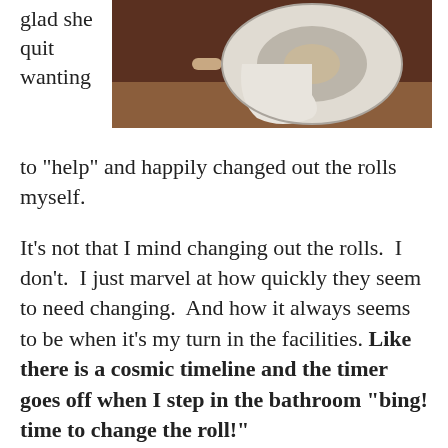glad she quit wanting
[Figure (photo): Close-up photograph of a white toilet paper roll on a brown wooden holder/surface]
to "help" and happily changed out the rolls myself.

It's not that I mind changing out the rolls.  I don't.  I just marvel at how quickly they seem to need changing.  And how it always seems to be when it's my turn in the facilities. Like there is a cosmic timeline and the timer goes off when I step in the bathroom "bing! time to change the roll!"

I have noticed, too, that I seem to be the lucky one to find the empty rolls in other places, too. When I am visiting a friend, for example.  And then I'm always struck with the dilemma.  What do I do? Rummage in